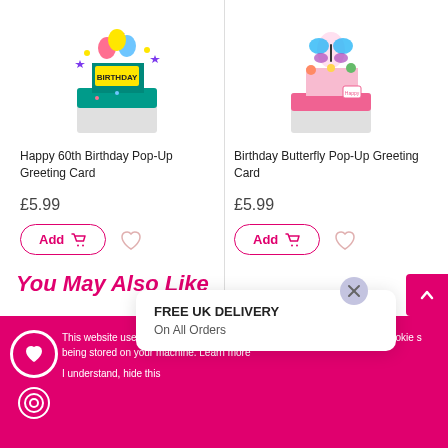[Figure (photo): Happy 60th Birthday Pop-Up Greeting Card product image - colorful popup card with balloons and stars]
[Figure (photo): Birthday Butterfly Pop-Up Greeting Card product image - popup card with butterflies and flowers]
Happy 60th Birthday Pop-Up Greeting Card
Birthday Butterfly Pop-Up Greeting Card
£5.99
£5.99
You May Also Like
FREE UK DELIVERY
On All Orders
This website uses cookies. By navigating around this site you consent to cookies being stored on your machine. Learn more
I understand, hide this